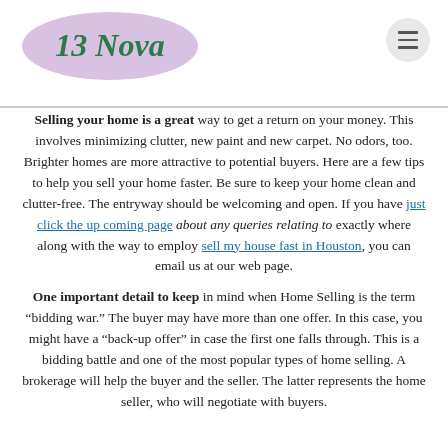13 Nova
Selling your home is a great way to get a return on your money. This involves minimizing clutter, new paint and new carpet. No odors, too. Brighter homes are more attractive to potential buyers. Here are a few tips to help you sell your home faster. Be sure to keep your home clean and clutter-free. The entryway should be welcoming and open. If you have just click the up coming page about any queries relating to exactly where along with the way to employ sell my house fast in Houston, you can email us at our web page.
One important detail to keep in mind when Home Selling is the term “bidding war.” The buyer may have more than one offer. In this case, you might have a “back-up offer” in case the first one falls through. This is a bidding battle and one of the most popular types of home selling. A brokerage will help the buyer and the seller. The latter represents the home seller, who will negotiate with buyers.